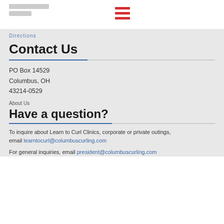Columbus Curling Club — navigation menu (hamburger icon)
Directions
Contact Us
PO Box 14529
Columbus, OH
43214-0529
About Us
Have a question?
To inquire about Learn to Curl Clinics, corporate or private outings, email learntocurl@columbuscurling.com
For general inquiries, email president@columbuscurling.com